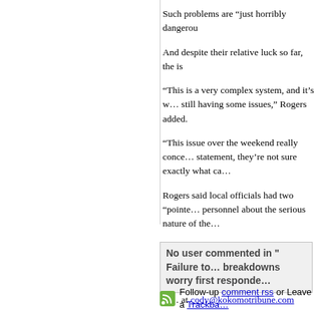Such problems are “just horribly dangero…
And despite their relative luck so far, the is…
“This is a very complex system, and it’s w… still having some issues,” Rogers added.
“This issue over the weekend really conce… statement, they’re not sure exactly what ca…
Rogers said local officials had two “pointe… personnel about the serious nature of the…
“Public safety is very serious and we’re co…
Cody Neuenschwander can be reached at… at cody@kokomotribune.com
No user commented in " Failure to… breakdowns worry first responde…
Follow-up comment rss or Leave a Trackba…